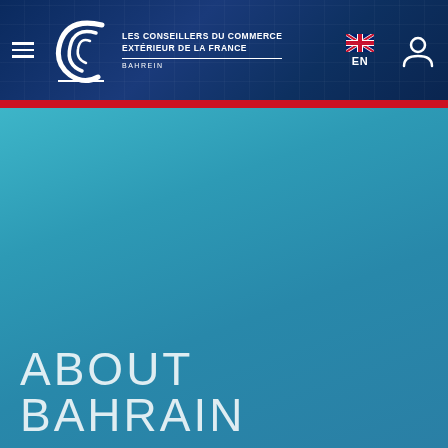[Figure (logo): CCE Logo with swirl emblem, text 'LES CONSEILLERS DU COMMERCE EXTÉRIEUR DE LA FRANCE', subtitle 'BAHREIN', with hamburger menu icon on left and UK flag + EN language selector + user icon on right, all on dark navy blue header background]
ABOUT BAHRAIN